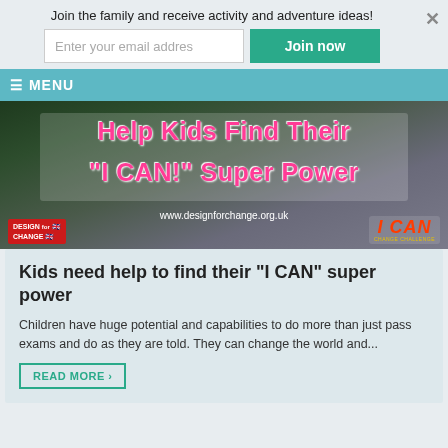Join the family and receive activity and adventure ideas!
Enter your email addres
Join now
☰ MENU
[Figure (photo): Promotional banner image for Design for Change UK 'I CAN' campaign. Shows children with papers. Text overlay reads: Help Kids Find Their "I CAN!" Super Power. Includes Design for Change and I CAN logos, and URL www.designforchange.org.uk]
Kids need help to find their “I CAN” super power
Children have huge potential and capabilities to do more than just pass exams and do as they are told. They can change the world and...
READ MORE ❯